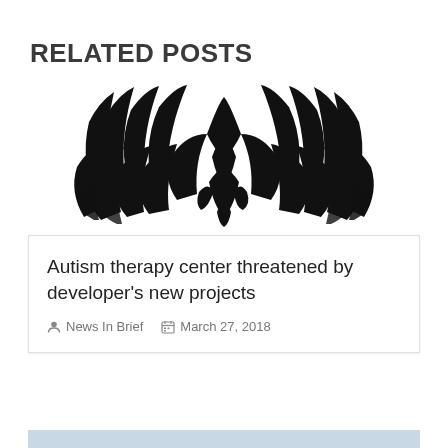RELATED POSTS
[Figure (logo): Black and white stylized bird/phoenix logo with spread wings, rendered in bold graphic style]
Autism therapy center threatened by developer's new projects
News In Brief   March 27, 2018
[Figure (photo): Bottom strip showing part of another article image, light blue-grey tones]